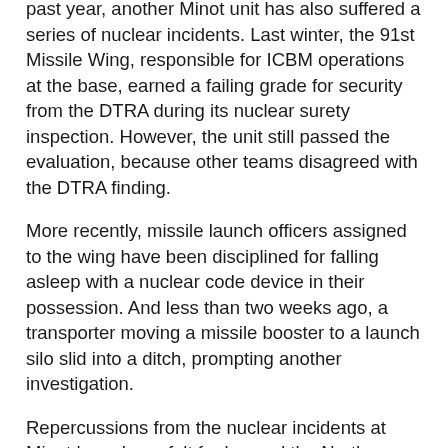past year, another Minot unit has also suffered a series of nuclear incidents. Last winter, the 91st Missile Wing, responsible for ICBM operations at the base, earned a failing grade for security from the DTRA during its nuclear surety inspection. However, the unit still passed the evaluation, because other teams disagreed with the DTRA finding.
More recently, missile launch officers assigned to the wing have been disciplined for falling asleep with a nuclear code device in their possession. And less than two weeks ago, a transporter moving a missile booster to a launch silo slid into a ditch, prompting another investigation.
Repercussions from the nuclear incidents at Minot have been felt far beyond the North Dakota base. Over the past year, the Air Force has conducted a series of inquiries and commissioned a blue-ribbon panel to recommend fixes for its nuclear enterprise.
While many of those recommendations have been implemented, the pace of reform--and continuing nuclear woes at Minot and other bases--resulted in the dismissal of the Air Force Secretary and Chief of Staff in...